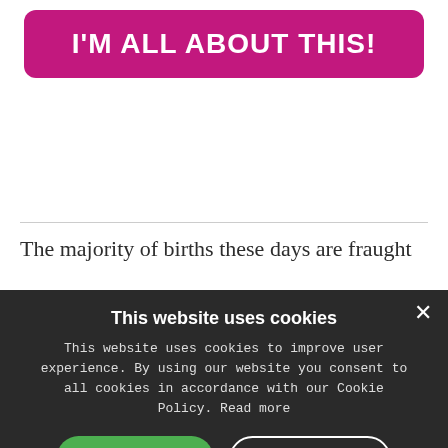[Figure (other): Pink/magenta rounded button with white bold text reading I'M ALL ABOUT THIS!]
The majority of births these days are fraught
This website uses cookies
This website uses cookies to improve user experience. By using our website you consent to all cookies in accordance with our Cookie Policy. Read more
ACCEPT ALL
DECLINE ALL
SHOW DETAILS
POWERED BY COOKIESCRIPT